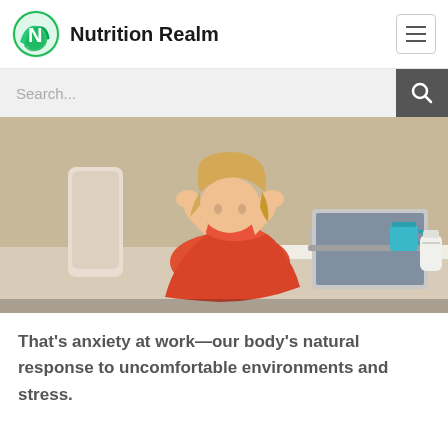Nutrition Realm
[Figure (screenshot): Search bar with magnifying glass icon on grey background]
[Figure (photo): Woman in red shirt sitting at a desk with a laptop, holding her head in her hands in apparent stress or anxiety. A teal mug and a white bottle are on the desk.]
That’s anxiety at work–our body’s natural response to uncomfortable environments and stress.